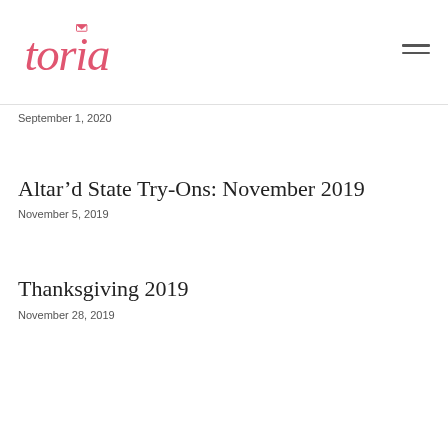toria
September 1, 2020
Altar’d State Try-Ons: November 2019
November 5, 2019
Thanksgiving 2019
November 28, 2019